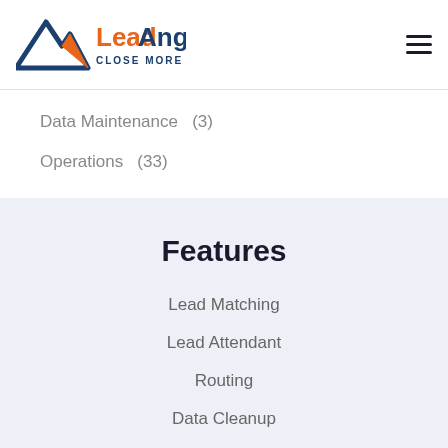[Figure (logo): LeadAngel logo with triangle/mountain icon in dark blue and orange, text 'LeadAngel' in dark blue and orange, tagline 'CLOSE MORE DEALS' below]
[Figure (other): Hamburger menu icon (three horizontal dark lines)]
Data Maintenance  (3)
Operations  (33)
Features
Lead Matching
Lead Attendant
Routing
Data Cleanup
Reporting